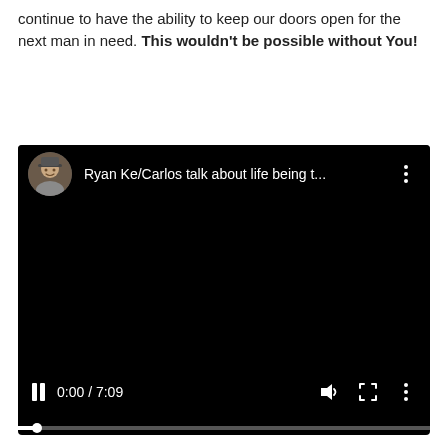continue to have the ability to keep our doors open for the next man in need. This wouldn't be possible without You!
[Figure (screenshot): Embedded video player showing a dark/black screen with a user avatar and title 'Ryan Ke/Carlos talk about life being t...' in the top bar, and playback controls showing 0:00 / 7:09 at the bottom with a progress bar.]